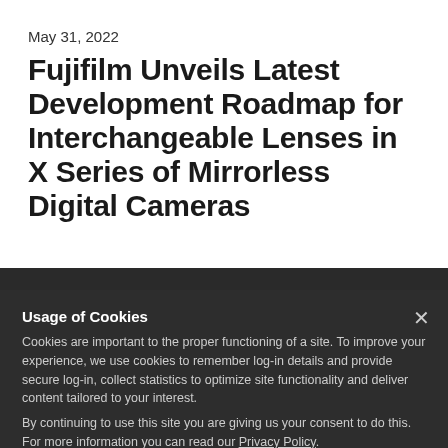May 31, 2022
Fujifilm Unveils Latest Development Roadmap for Interchangeable Lenses in X Series of Mirrorless Digital Cameras
Addition of three new XF lenses creates an extensive 42-lens lineup
Valhalla, N.Y.: FUJIFILM North America Corporation today unveiled its latest development roadmap for interchangeable XF
Usage of Cookies
Cookies are important to the proper functioning of a site. To improve your experience, we use cookies to remember log-in details and provide secure log-in, collect statistics to optimize site functionality and deliver content tailored to your interest.
By continuing to use this site you are giving us your consent to do this. For more information you can read our Privacy Policy.